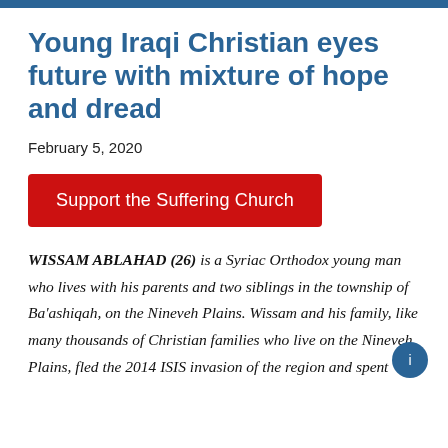Young Iraqi Christian eyes future with mixture of hope and dread
February 5, 2020
Support the Suffering Church
WISSAM ABLAHAD (26) is a Syriac Orthodox young man who lives with his parents and two siblings in the township of Ba'ashiqah, on the Nineveh Plains. Wissam and his family, like many thousands of Christian families who live on the Nineveh Plains, fled the 2014 ISIS invasion of the region and spent several years living in Erbil, Kurdistan. He spoke with